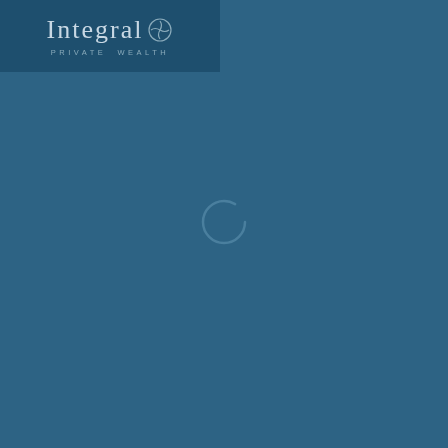[Figure (logo): Integral Private Wealth logo with text and circular emblem on dark blue background]
[Figure (other): Loading spinner circle in center of dark blue page]